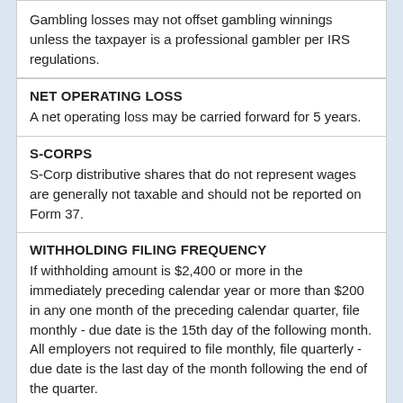Gambling losses may not offset gambling winnings unless the taxpayer is a professional gambler per IRS regulations.
NET OPERATING LOSS
A net operating loss may be carried forward for 5 years.
S-CORPS
S-Corp distributive shares that do not represent wages are generally not taxable and should not be reported on Form 37.
WITHHOLDING FILING FREQUENCY
If withholding amount is $2,400 or more in the immediately preceding calendar year or more than $200 in any one month of the preceding calendar quarter, file monthly - due date is the 15th day of the following month. All employers not required to file monthly, file quarterly - due date is the last day of the month following the end of the quarter.
CATEGORY